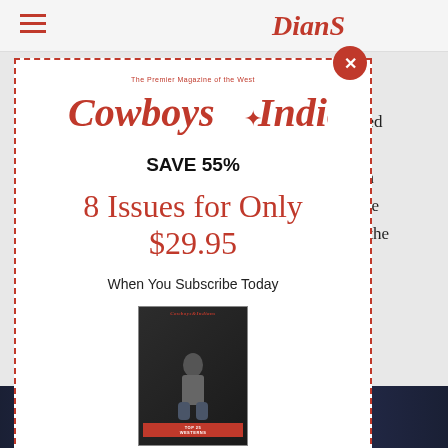Cowboys & Indians
[Figure (screenshot): Cowboys & Indians magazine subscription modal popup overlay on a webpage. The modal shows: Cowboys & Indians logo, SAVE 55%, 8 Issues for Only $29.95, When You Subscribe Today, magazine cover image, SIGN UP NOW button. Background shows partial article text about oldest and largest juried music and cultural event at Santa Fe Plaza.]
oldest and largest juried music, and cultural ture and art of Spanish c, and artwork by some form the ambience at the nta Fe Plaza,
org